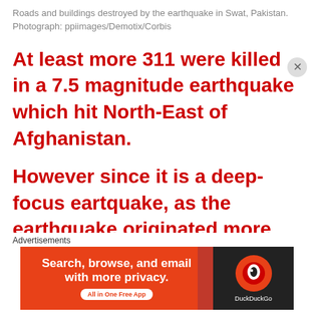Roads and buildings destroyed by the earthquake in Swat, Pakistan. Photograph: ppiimages/Demotix/Corbis
At least more 311 were killed in a 7.5 magnitude earthquake which hit North-East of Afghanistan.
However since it is a deep-focus eartquake, as the earthquake originated more than 200km (125 miles) below the
[Figure (other): DuckDuckGo advertisement banner: Search, browse, and email with more privacy. All in One Free App.]